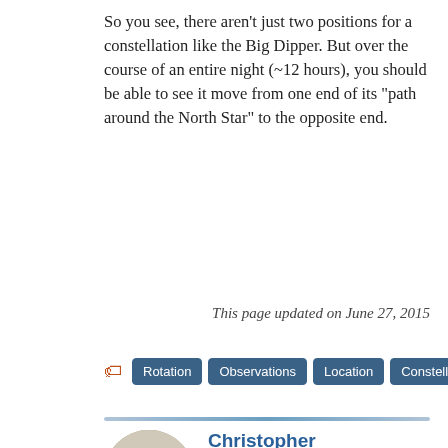So you see, there aren't just two positions for a constellation like the Big Dipper. But over the course of an entire night (~12 hours), you should be able to see it move from one end of its "path around the North Star" to the opposite end.
This page updated on June 27, 2015
Rotation  Observations  Location  Constellations
[Figure (photo): Circular portrait photo of Christopher Springob, a bald man wearing a red shirt, smiling.]
Christopher Springob
Chris studies the large scale structure of the universe using the peculiar velocities of galaxies. He